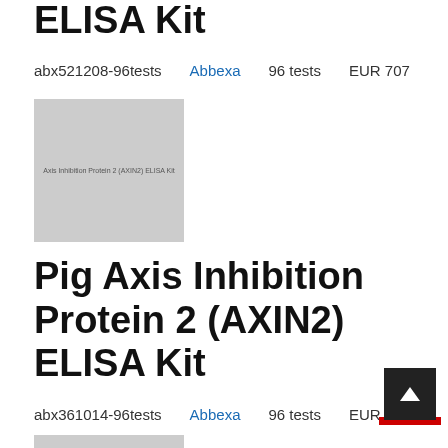ELISA Kit
abx521208-96tests   Abbexa   96 tests   EUR 707
[Figure (photo): Gray placeholder image for AXIN2 ELISA Kit product (Axis Inhibition Protein 2 (AXIN2) ELISA Kit)]
Pig Axis Inhibition Protein 2 (AXIN2) ELISA Kit
abx361014-96tests   Abbexa   96 tests   EUR 885
[Figure (photo): Gray placeholder image for second AXIN2 ELISA Kit product (Axis Inhibition Protein 2 (AXIN2) ELISA Kit)]